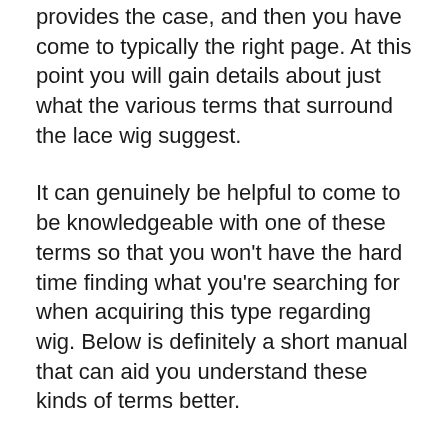provides the case, and then you have come to typically the right page. At this point you will gain details about just what the various terms that surround the lace wig suggest.
It can genuinely be helpful to come to be knowledgeable with one of these terms so that you won't have the hard time finding what you're searching for when acquiring this type regarding wig. Below is definitely a short manual that can aid you understand these kinds of terms better.
Ribbons Wig – This is actually the term used with regard to a wig that will contains lace. To wear it, it will be usually placed over the scalp with the user. You can easily find various kinds these types of wigs on the